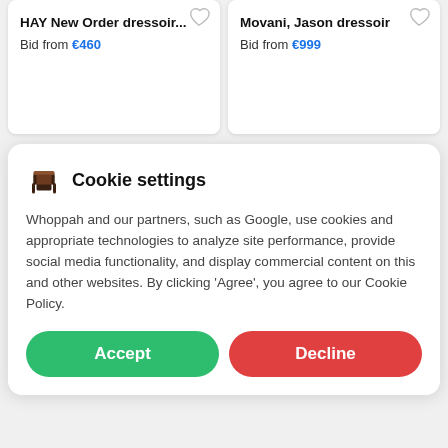HAY New Order dressoir…
Bid from €460
Movani, Jason dressoir
Bid from €999
Cookie settings
Whoppah and our partners, such as Google, use cookies and appropriate technologies to analyze site performance, provide social media functionality, and display commercial content on this and other websites. By clicking 'Agree', you agree to our Cookie Policy.
Accept
Decline